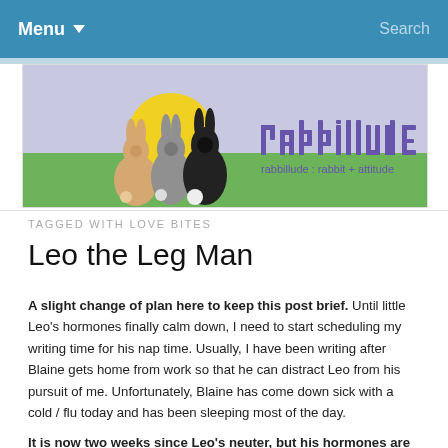Menu  Search
[Figure (illustration): Rabbillude blog banner: three rabbits (tan, grey, black) sitting on green grass under a yellow sun against a lavender sky, with stylized text 'rabbillude : rabbit + attitude']
TAGGED WITH LOVE BITES
Leo the Leg Man
A slight change of plan here to keep this post brief.  Until little Leo's hormones finally calm down, I need to start scheduling my writing time for his nap time.  Usually, I have been writing after Blaine gets home from work so that he can distract Leo from his pursuit of me.  Unfortunately, Blaine has come down sick with a cold / flu today and has been sleeping most of the day.
It is now two weeks since Leo's neuter, but his hormones are still